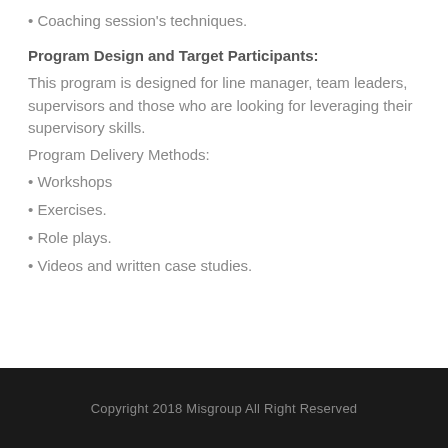Coaching session's techniques.
Program Design and Target Participants:
This program is designed for line manager, team leaders, supervisors and those who are looking for leveraging their supervisory skills.
Program Delivery Methods:
Workshops
Exercises.
Role plays.
Videos and written case studies.
Copyright 2018 Misgroup All Right Reserved